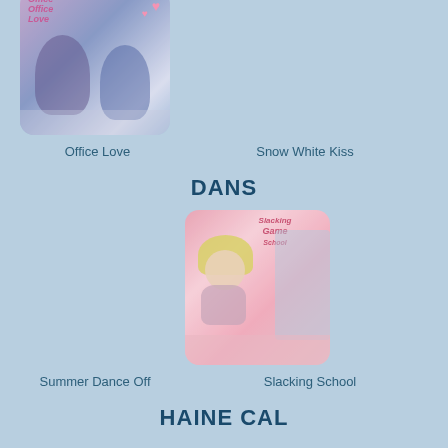[Figure (illustration): Anime-style game thumbnail for Office Love, showing two characters at a computer with hearts]
Office Love
Snow White Kiss
DANS
[Figure (illustration): Game thumbnail for Slacking School showing a cartoon blonde girl with school supplies]
Summer Dance Off
Slacking School
HAINE CAL